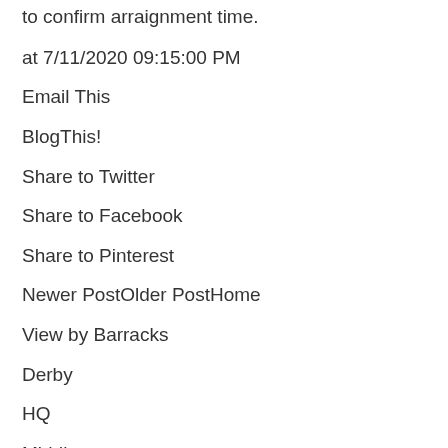to confirm arraignment time.
at 7/11/2020 09:15:00 PM
Email This
BlogThis!
Share to Twitter
Share to Facebook
Share to Pinterest
Newer PostOlder PostHome
View by Barracks
Derby
HQ
Middlesex
New Haven